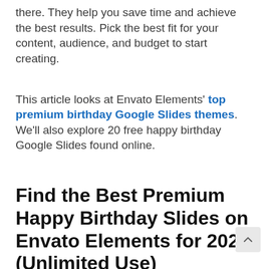there. They help you save time and achieve the best results. Pick the best fit for your content, audience, and budget to start creating.
This article looks at Envato Elements' top premium birthday Google Slides themes. We'll also explore 20 free happy birthday Google Slides found online.
Find the Best Premium Happy Birthday Slides on Envato Elements for 2022 (Unlimited Use)